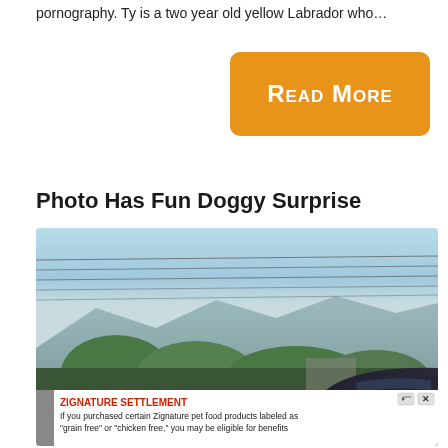pornography. Ty is a two year old yellow Labrador who…
[Figure (other): Orange 'Read More' button with rounded corners on white background]
Photo Has Fun Doggy Surprise
[Figure (photo): Outdoor photo showing sky with power lines, trees, mountains in background, and part of a dark SUV roof in the lower right. A red traffic light dot is visible lower left. An advertisement banner overlays the bottom of the image for 'Zignature Settlement' pet food class action.]